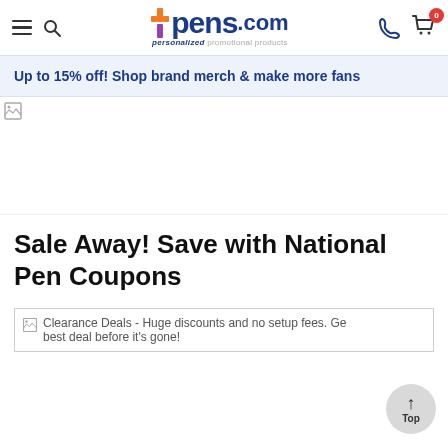pens.com — personalized promotional products navigation header with hamburger menu, search, phone, and cart icons
Up to 15% off! Shop brand merch & make more fans
[Figure (photo): Hero banner image (broken/not loaded)]
Sale Away! Save with National Pen Coupons
[Figure (photo): Clearance Deals - Huge discounts and no setup fees. Get the best deal before it's gone! (broken/not loaded image)]